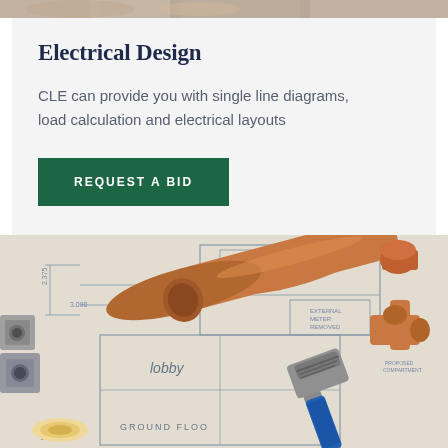[Figure (photo): Partial top strip of a photo showing tools or plumbing materials at the very top of the page]
Electrical Design
CLE can provide you with single line diagrams, load calculation and electrical layouts
REQUEST A BID
[Figure (photo): Photograph of architectural/plumbing blueprints laid flat with copper pipes, copper pipe fittings, metal nuts and a pipe wrench with blue handle. Blueprint text visible includes 'lobby', 'WC', 'GROUND FLOOR', and various dimensions.]